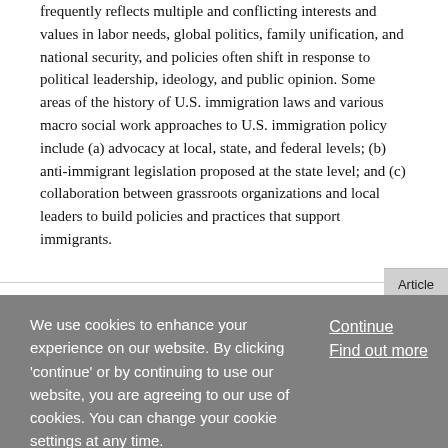frequently reflects multiple and conflicting interests and values in labor needs, global politics, family unification, and national security, and policies often shift in response to political leadership, ideology, and public opinion. Some areas of the history of U.S. immigration laws and various macro social work approaches to U.S. immigration policy include (a) advocacy at local, state, and federal levels; (b) anti-immigrant legislation proposed at the state level; and (c) collaboration between grassroots organizations and local leaders to build policies and practices that support immigrants.
Article
We use cookies to enhance your experience on our website. By clicking 'continue' or by continuing to use our website, you are agreeing to our use of cookies. You can change your cookie settings at any time.
Continue
Find out more